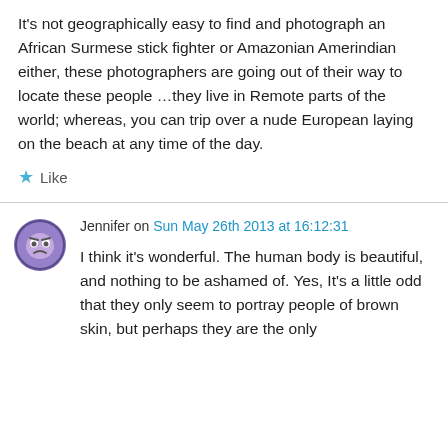It's not geographically easy to find and photograph an African Surmese stick fighter or Amazonian Amerindian either, these photographers are going out of their way to locate these people …they live in Remote parts of the world; whereas, you can trip over a nude European laying on the beach at any time of the day.
★ Like
Jennifer on Sun May 26th 2013 at 16:12:31
I think it's wonderful. The human body is beautiful, and nothing to be ashamed of. Yes, It's a little odd that they only seem to portray people of brown skin, but perhaps they are the only